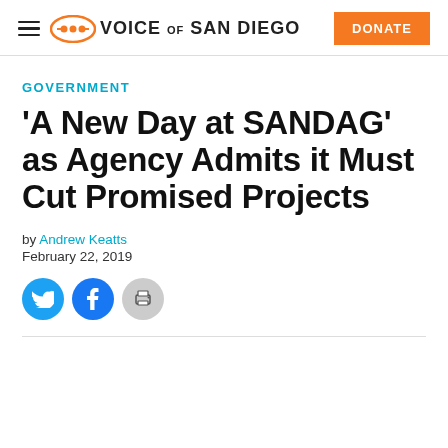Voice of San Diego — DONATE
GOVERNMENT
'A New Day at SANDAG' as Agency Admits it Must Cut Promised Projects
by Andrew Keatts
February 22, 2019